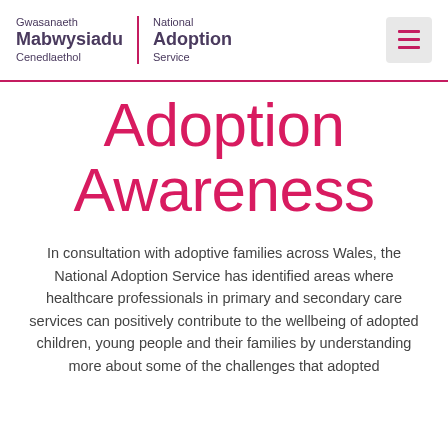Gwasanaeth Mabwysiadu Cenedlaethol | National Adoption Service
Adoption Awareness
In consultation with adoptive families across Wales, the National Adoption Service has identified areas where healthcare professionals in primary and secondary care services can positively contribute to the wellbeing of adopted children, young people and their families by understanding more about some of the challenges that adopted